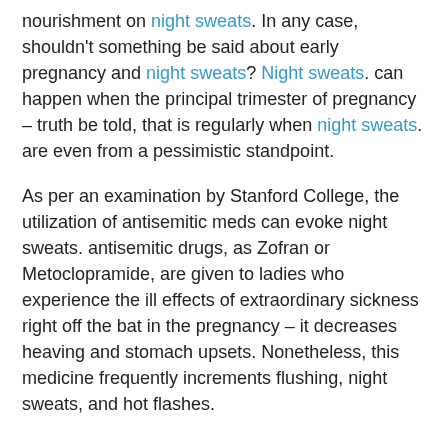nourishment on night sweats. In any case, shouldn't something be said about early pregnancy and night sweats? Night sweats. can happen when the principal trimester of pregnancy – truth be told, that is regularly when night sweats. are even from a pessimistic standpoint.
As per an examination by Stanford College, the utilization of antisemitic meds can evoke night sweats. antisemitic drugs, as Zofran or Metoclopramide, are given to ladies who experience the ill effects of extraordinary sickness right off the bat in the pregnancy – it decreases heaving and stomach upsets. Nonetheless, this medicine frequently increments flushing, night sweats, and hot flashes.